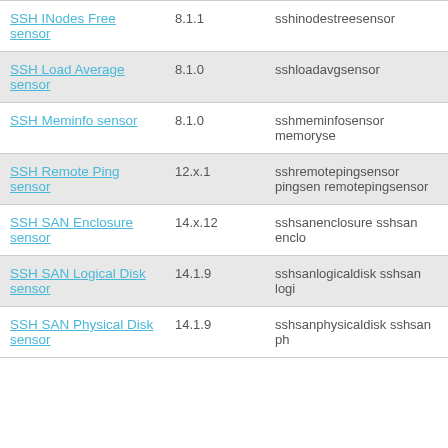| Sensor Name | Version | Sensor ID |
| --- | --- | --- |
| SSH INodes Free sensor | 8.1.1 | sshinodestreesensor |
| SSH Load Average sensor | 8.1.0 | sshloadavgsensor |
| SSH Meminfo sensor | 8.1.0 | sshmeminfosensor memoryse… |
| SSH Remote Ping sensor | 12.x.1 | sshremotepingsensor pingsen… remotepingsensor |
| SSH SAN Enclosure sensor | 14.x.12 | sshsanenclosure sshsan enclo… |
| SSH SAN Logical Disk sensor | 14.1.9 | sshsanlogicaldisk sshsan logi… |
| SSH SAN Physical Disk sensor | 14.1.9 | sshsanphysicaldisk sshsan ph… |